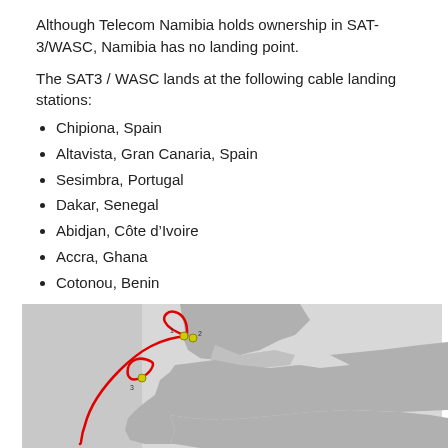Although Telecom Namibia holds ownership in SAT-3/WASC, Namibia has no landing point.
The SAT3 / WASC lands at the following cable landing stations:
Chipiona, Spain
Altavista, Gran Canaria, Spain
Sesimbra, Portugal
Dakar, Senegal
Abidjan, Côte d'Ivoire
Accra, Ghana
Cotonou, Benin
Lagos, Nigeria
Douala, Cameroon
Libreville, Gabon
Cacuaco, Angola
Melkbosstrand, South Africa
[Figure (map): Map showing the SAT-3/WASC cable route along the west coast of Africa and Europe, with numbered landing points marked in yellow/green on a grey world map background, and the cable route shown in red.]